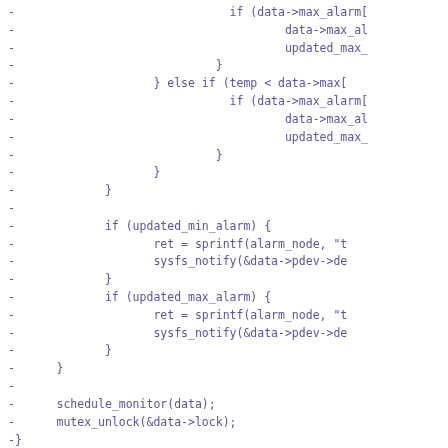[Figure (other): Source code diff showing C code with lines prefixed by '-', including conditional alarm logic, schedule_monitor, mutex_unlock, and HWMON sysfs interface function definitions.]